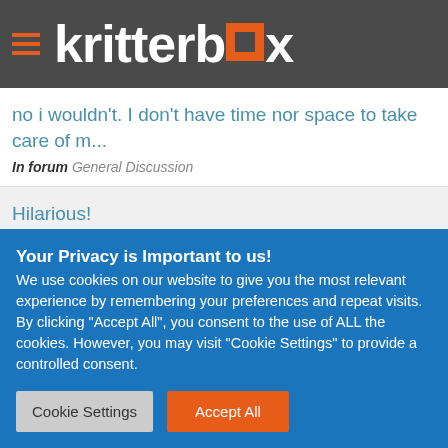kritterbox
no i wouldn't. I don't have time nor space to take care of m...
In forum General Discussion
Hilarious!
In forum General Discussion
Perked Mason right the heck up. I had to remind him
Your Privacy is Important to us! We use cookies on our website to give you the most relevant experience by remembering your preferences and repeat visits. By clicking "Accept All", you consent to the use of ALL the cookies. However, you may visit "Cookie Settings" to provide a controlled consent.